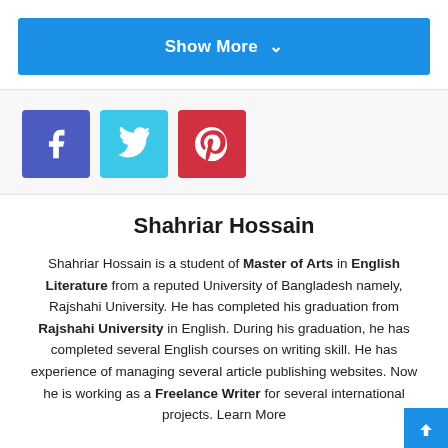[Figure (other): Blue 'Show More' button with chevron]
[Figure (other): Social share icons: Facebook (blue-purple), Twitter (cyan), Pinterest (red)]
Shahriar Hossain
Shahriar Hossain is a student of Master of Arts in English Literature from a reputed University of Bangladesh namely, Rajshahi University. He has completed his graduation from Rajshahi University in English. During his graduation, he has completed several English courses on writing skill. He has experience of managing several article publishing websites. Now he is working as a Freelance Writer for several international projects. Learn More
[Figure (other): Home icon (house symbol)]